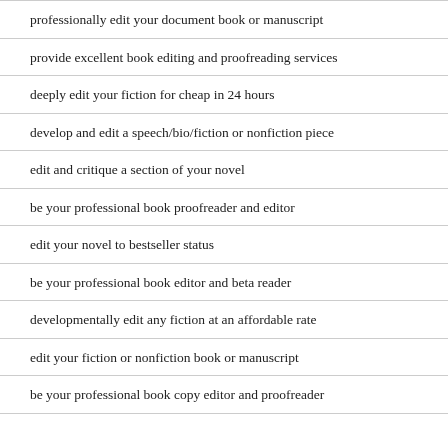professionally edit your document book or manuscript
provide excellent book editing and proofreading services
deeply edit your fiction for cheap in 24 hours
develop and edit a speech/bio/fiction or nonfiction piece
edit and critique a section of your novel
be your professional book proofreader and editor
edit your novel to bestseller status
be your professional book editor and beta reader
developmentally edit any fiction at an affordable rate
edit your fiction or nonfiction book or manuscript
be your professional book copy editor and proofreader